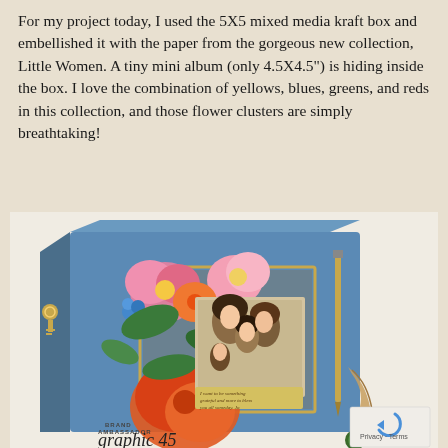For my project today, I used the 5X5 mixed media kraft box and embellished it with the paper from the gorgeous new collection, Little Women. A tiny mini album (only 4.5X4.5") is hiding inside the box. I love the combination of yellows, blues, greens, and reds in this collection, and those flower clusters are simply breathtaking!
[Figure (photo): A decorated 5X5 mixed media kraft box embellished with 'Little Women' collection paper featuring blue floral mosaic pattern, large colorful flower clusters (pink, orange, red), a central framed vintage portrait of women/girls, a pencil/pen on the side, and a gold ribbon. Brand Ambassador Graphic 45 logo visible at bottom left.]